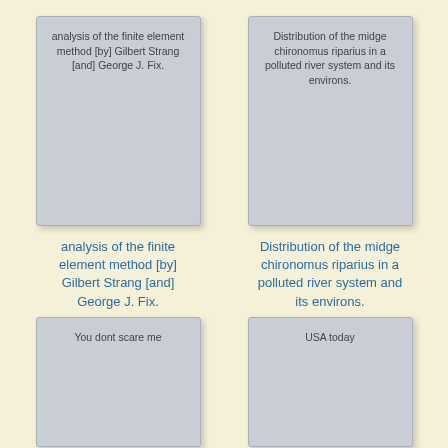[Figure (illustration): Book card with text: analysis of the finite element method [by] Gilbert Strang [and] George J. Fix.]
[Figure (illustration): Book card with text: Distribution of the midge chironomus riparius in a polluted river system and its environs.]
analysis of the finite element method [by] Gilbert Strang [and] George J. Fix.
Distribution of the midge chironomus riparius in a polluted river system and its environs.
[Figure (illustration): Book card with text: You dont scare me]
[Figure (illustration): Book card with text: USA today]